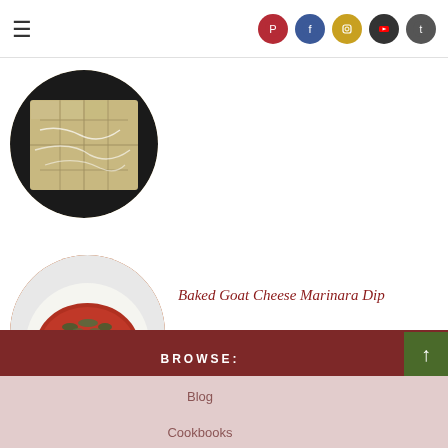Navigation bar with hamburger menu and social icons: Pinterest, Facebook, Instagram, YouTube, Twitter
[Figure (photo): Circular cropped photo of crackers or flatbread pieces on a dark surface, partially visible at top of page]
[Figure (photo): Circular cropped photo of Baked Goat Cheese Marinara Dip in a white bowl, showing a block of goat cheese with herbs on tomato sauce]
Baked Goat Cheese Marinara Dip
BROWSE:
Blog
Cookbooks